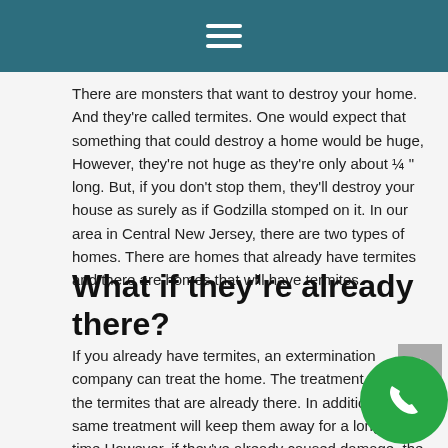There are monsters that want to destroy your home. And they're called termites. One would expect that something that could destroy a home would be huge, However, they're not huge as they're only about ¼ " long. But, if you don't stop them, they'll destroy your house as surely as if Godzilla stomped on it. In our area in Central New Jersey, there are two types of homes. There are homes that already have termites and there are homes that will have termites.
What if they're already there?
If you already have termites, an extermination company can treat the home. The treatment will kill off the termites that are already there. In addition, the same treatment will keep them away for a long time.However, if they've already caused damage, the damage should be repaired. These tiny insects compromise structural timbers, plywood sheathing and m... Additionally, termites can (and will) also eat sheet rock. Sometimes they only leave the visible coat of paint.